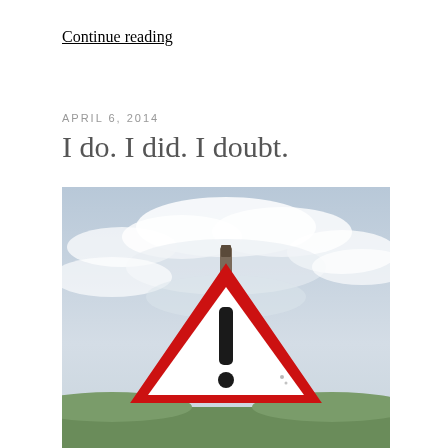Continue reading
APRIL 6, 2014
I do. I did. I doubt.
[Figure (photo): A triangular red-and-white warning/caution road sign with a black exclamation mark, mounted on a metal post, photographed against a cloudy sky with green hills in the background.]